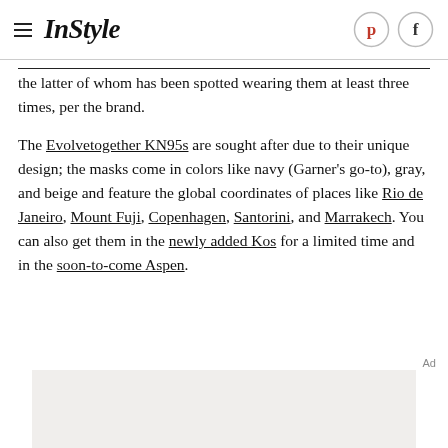InStyle
the latter of whom has been spotted wearing them at least three times, per the brand.
The Evolvetogether KN95s are sought after due to their unique design; the masks come in colors like navy (Garner's go-to), gray, and beige and feature the global coordinates of places like Rio de Janeiro, Mount Fuji, Copenhagen, Santorini, and Marrakech. You can also get them in the newly added Kos for a limited time and in the soon-to-come Aspen.
Ad